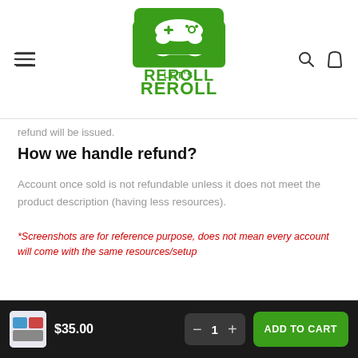[Figure (logo): Let's Reroll gaming store logo — green rounded rectangle with white game controller icon above green text LET'S REROLL]
refund will be issued.
How we handle refund?
Account once sold is not refundable unless it does not meet the product description (having less resources).
*Screenshots are for reference purpose, does not mean every account will come with the same resources/setup
$35.00  −  1  +  ADD TO CART